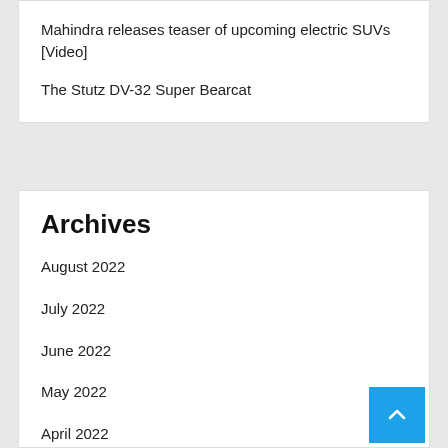Mahindra releases teaser of upcoming electric SUVs [Video]
The Stutz DV-32 Super Bearcat
Archives
August 2022
July 2022
June 2022
May 2022
April 2022